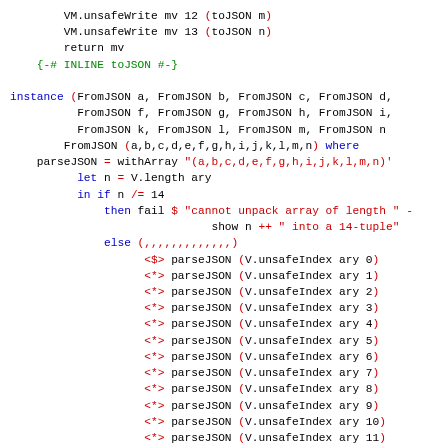VM.unsafeWrite mv 12 (toJSON m)
    VM.unsafeWrite mv 13 (toJSON n)
    return mv
  {-# INLINE toJSON #-}

instance (FromJSON a, FromJSON b, FromJSON c, FromJSON d,
          FromJSON f, FromJSON g, FromJSON h, FromJSON i,
          FromJSON k, FromJSON l, FromJSON m, FromJSON n
        FromJSON (a,b,c,d,e,f,g,h,i,j,k,l,m,n) where
  parseJSON = withArray "(a,b,c,d,e,f,g,h,i,j,k,l,m,n)"
      let n = V.length ary
      in if n /= 14
          then fail $ "cannot unpack array of length " -
                          show n ++ " into a 14-tuple"
          else (,,,,,,,,,,,,,)
                <$> parseJSON (V.unsafeIndex ary 0)
                <*> parseJSON (V.unsafeIndex ary 1)
                <*> parseJSON (V.unsafeIndex ary 2)
                <*> parseJSON (V.unsafeIndex ary 3)
                <*> parseJSON (V.unsafeIndex ary 4)
                <*> parseJSON (V.unsafeIndex ary 5)
                <*> parseJSON (V.unsafeIndex ary 6)
                <*> parseJSON (V.unsafeIndex ary 7)
                <*> parseJSON (V.unsafeIndex ary 8)
                <*> parseJSON (V.unsafeIndex ary 9)
                <*> parseJSON (V.unsafeIndex ary 10)
                <*> parseJSON (V.unsafeIndex ary 11)
                <*> parseJSON (V.unsafeIndex ary 12)
                <*> parseJSON (V.unsafeIndex ary 13)
  {-# INLINE parseJSON #-}